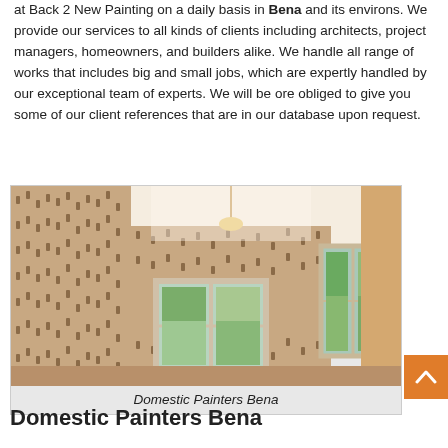at Back 2 New Painting on a daily basis in Bena and its environs. We provide our services to all kinds of clients including architects, project managers, homeowners, and builders alike. We handle all range of works that includes big and small jobs, which are expertly handled by our exceptional team of experts. We will be ore obliged to give you some of our client references that are in our database upon request.
[Figure (photo): Interior room with patterned wallpaper covering all walls, two windows letting in natural light, a hanging light fixture, and glimpses of a garden outside.]
Domestic Painters Bena
Domestic Painters Bena